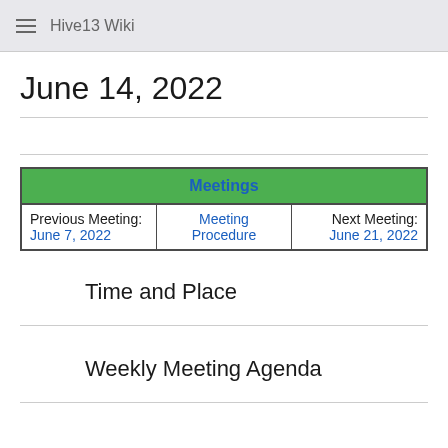≡  Hive13 Wiki
June 14, 2022
| Meetings |
| --- |
| Previous Meeting:
June 7, 2022 | Meeting
Procedure | Next Meeting:
June 21, 2022 |
Time and Place
Weekly Meeting Agenda